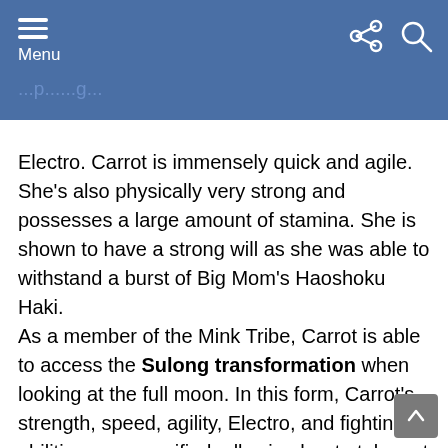Menu
Electro. Carrot is immensely quick and agile. She's also physically very strong and possesses a large amount of stamina. She is shown to have a strong will as she was able to withstand a burst of Big Mom's Haoshoku Haki. As a member of the Mink Tribe, Carrot is able to access the Sulong transformation when looking at the full moon. In this form, Carrot's strength, speed, agility, Electro, and fighting abilities are magnified, allowing her to take out multiple members of the Big Mom Pirates in the blink of an eye, and rip out the helm of Charlotte Daifuku's ship. Her gliding abilities have also improved, as she was able to glide from the